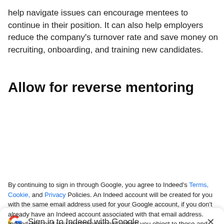help navigate issues can encourage mentees to continue in their position. It can also help employers reduce the company's turnover rate and save money on recruiting, onboarding, and training new candidates.
Allow for reverse mentoring
[Figure (screenshot): A Google sign-in modal dialog for Indeed with a 'Continue with Google' button and legal disclaimer text.]
By continuing to sign in through Google, you agree to Indeed's Terms, Cookie, and Privacy Policies. An Indeed account will be created for you with the same email address used for your Google account, if you don't already have an Indeed account associated with that email address. Indeed will send you marketing emails unless you object to these and you can unsubscribe at any time.